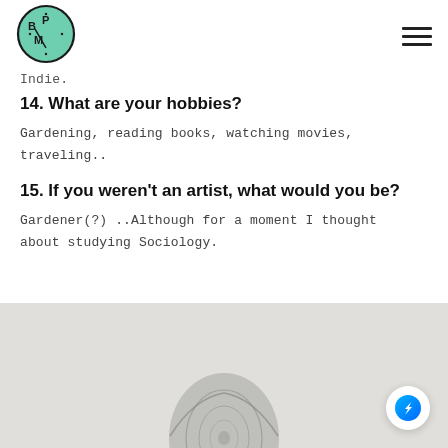[Figure (logo): BPM circular logo with mint green background, letters B, P, M arranged in a circle with decorative lines]
Indie.
14. What are your hobbies?
Gardening, reading books, watching movies, traveling..
15. If you weren't an artist, what would you be?
Gardener(?) ..Although for a moment I thought about studying Sociology.
[Figure (photo): Bottom portion of page showing a sketch/illustration of a person's head from above and a textured grey background]